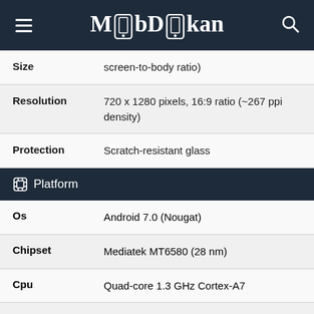MobDokan
| Spec | Value |
| --- | --- |
| Size | screen-to-body ratio) |
| Resolution | 720 x 1280 pixels, 16:9 ratio (~267 ppi density) |
| Protection | Scratch-resistant glass |
Platform
| Spec | Value |
| --- | --- |
| Os | Android 7.0 (Nougat) |
| Chipset | Mediatek MT6580 (28 nm) |
| Cpu | Quad-core 1.3 GHz Cortex-A7 |
| Gpu | Mali-400MP2 |
Storage
| Spec | Value |
| --- | --- |
| Card Slot | microSDXC |